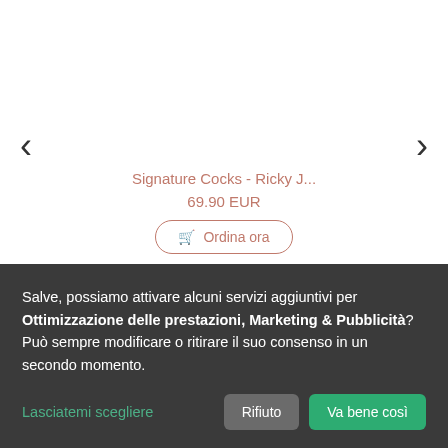[Figure (screenshot): E-commerce product carousel showing a faded product listing for 'Signature Cocks - Ricky J...' priced at 69.90 EUR with an 'Ordina ora' (Order now) button, and left/right navigation arrows.]
Salve, possiamo attivare alcuni servizi aggiuntivi per Ottimizzazione delle prestazioni, Marketing & Pubblicità? Può sempre modificare o ritirare il suo consenso in un secondo momento.
Lasciatemi scegliere
Rifiuto
Va bene così